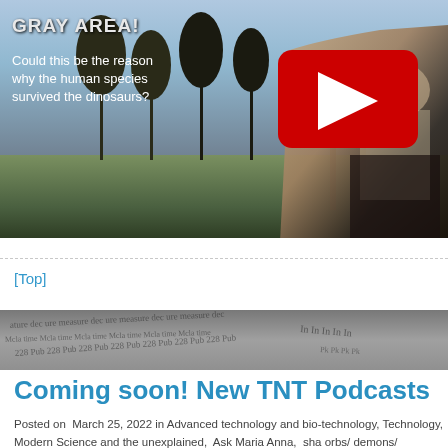[Figure (screenshot): YouTube video thumbnail showing a person sitting outdoors with text overlay 'GRAY AREA! Could this be the reason why the human species survived the dinosaurs?' and a YouTube play button]
[Top]
[Figure (photo): Newspaper pages banner image used as section divider]
Coming soon! New TNT Podcasts
Posted on  March 25, 2022 in Advanced technology and bio-technology, Technology, Modern Science and the unexplained,  Ask Maria Anna,  sha orbs/ demons/ poltergeists /EVP/ time travel /extraterrestrials,  space,  T updates,  UFO-thecnology,  Young People Science